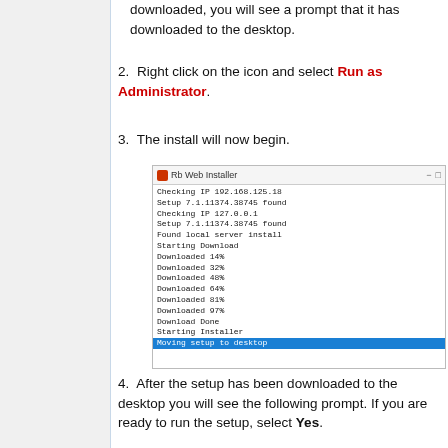downloaded, you will see a prompt that it has downloaded to the desktop.
2. Right click on the icon and select Run as Administrator.
3. The install will now begin.
[Figure (screenshot): Rb Web Installer dialog showing download progress log: Checking IP 192.168.125.18, Setup 7.1.11374.38745 found, Checking IP 127.0.0.1, Setup 7.1.11374.38745 found, Found local server install, Starting Download, Downloaded 14%, Downloaded 32%, Downloaded 48%, Downloaded 64%, Downloaded 81%, Downloaded 97%, Download Done, Starting Installer, Moving setup to desktop (highlighted in blue)]
4. After the setup has been downloaded to the desktop you will see the following prompt. If you are ready to run the setup, select Yes.